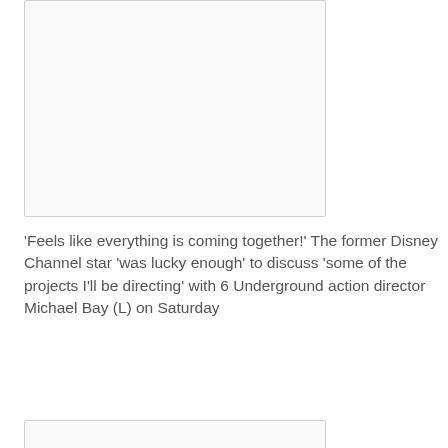[Figure (photo): Photo placeholder box at top of page]
'Feels like everything is coming together!' The former Disney Channel star 'was lucky enough' to discuss 'some of the projects I'll be directing' with 6 Underground action director Michael Bay (L) on Saturday
[Figure (photo): Photo placeholder box below caption]
You got this: Thorne also got an Instagram shout out in the